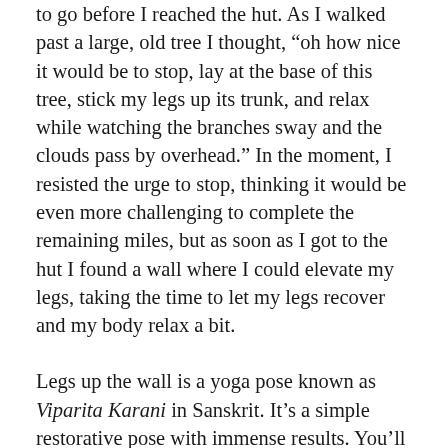to go before I reached the hut. As I walked past a large, old tree I thought, “oh how nice it would be to stop, lay at the base of this tree, stick my legs up its trunk, and relax while watching the branches sway and the clouds pass by overhead.” In the moment, I resisted the urge to stop, thinking it would be even more challenging to complete the remaining miles, but as soon as I got to the hut I found a wall where I could elevate my legs, taking the time to let my legs recover and my body relax a bit.
Legs up the wall is a yoga pose known as Viparita Karani in Sanskrit. It’s a simple restorative pose with immense results. You’ll relieve unwanted stress and tension by elevating your feet up a wall for 5-10 minutes at a time. You can do it after a long day on the trail, after a short workout or as part of your normal day-to-day routine. It’s a great way to unwind and slow down